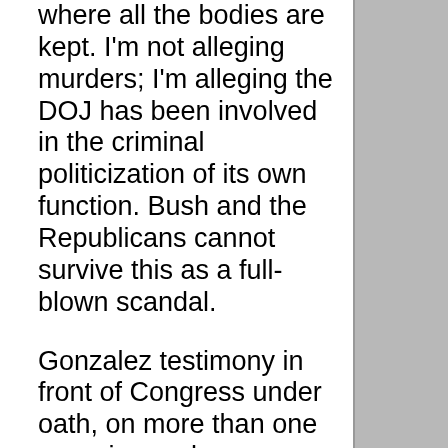where all the bodies are kept. I'm not alleging murders; I'm alleging the DOJ has been involved in the criminal politicization of its own function. Bush and the Republicans cannot survive this as a full-blown scandal.
Gonzalez testimony in front of Congress under oath, on more than one occasion and on more than one topic, has been contradictory to his own testimony to Congress under